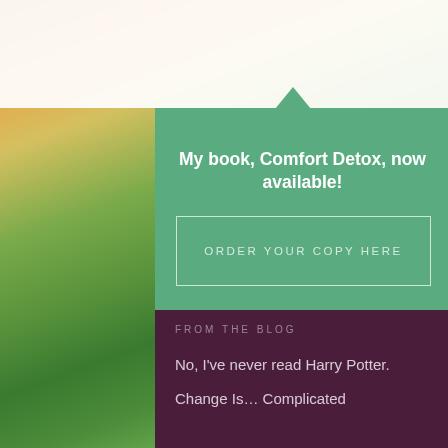My book, Comfort Detox, now available!
ORDER YOUR COPY HERE
FROM THE BLOG
No, I've never read Harry Potter.
Change Is… Complicated